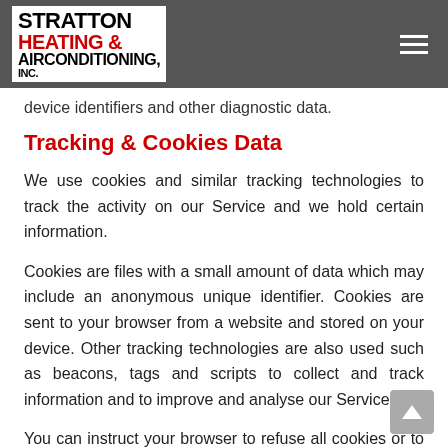[Figure (logo): Stratton Heating & Air Conditioning, Inc. logo on grey header bar with hamburger menu icon]
device identifiers and other diagnostic data.
Tracking & Cookies Data
We use cookies and similar tracking technologies to track the activity on our Service and we hold certain information.
Cookies are files with a small amount of data which may include an anonymous unique identifier. Cookies are sent to your browser from a website and stored on your device. Other tracking technologies are also used such as beacons, tags and scripts to collect and track information and to improve and analyse our Service.
You can instruct your browser to refuse all cookies or to indicate when a cookie is being sent. However, if you do not